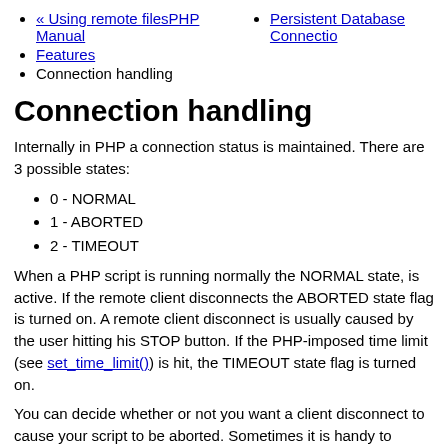« Using remote filesPHP Manual
Persistent Database Connection
Features
Connection handling
Connection handling
Internally in PHP a connection status is maintained. There are 3 possible states:
0 - NORMAL
1 - ABORTED
2 - TIMEOUT
When a PHP script is running normally the NORMAL state, is active. If the remote client disconnects the ABORTED state flag is turned on. A remote client disconnect is usually caused by the user hitting his STOP button. If the PHP-imposed time limit (see set_time_limit()) is hit, the TIMEOUT state flag is turned on.
You can decide whether or not you want a client disconnect to cause your script to be aborted. Sometimes it is handy to always have your scripts run to completion even if there is no remote